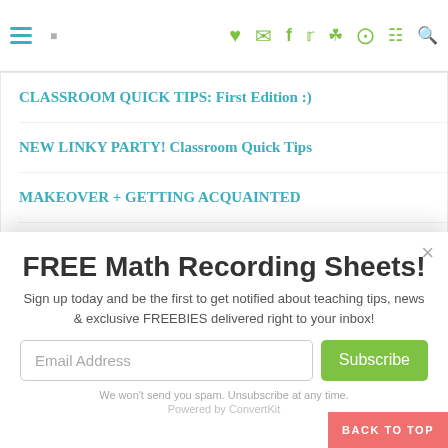Navigation bar with hamburger menu and social icons
CLASSROOM QUICK TIPS: First Edition :)
NEW LINKY PARTY! Classroom Quick Tips
MAKEOVER + GETTING ACQUAINTED
Google Forms in the Primary Classroom
FREE Math Recording Sheets!
Sign up today and be the first to get notified about teaching tips, news & exclusive FREEBIES delivered right to your inbox!
Email Address
Subscribe
We won't send you spam. Unsubscribe at any time.
Powered by ConvertKit